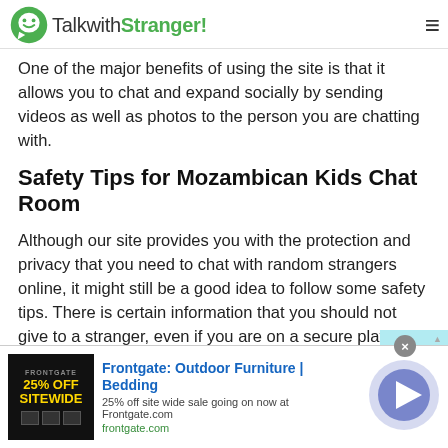TalkwithStranger!
One of the major benefits of using the site is that it allows you to chat and expand socially by sending videos as well as photos to the person you are chatting with.
Safety Tips for Mozambican Kids Chat Room
Although our site provides you with the protection and privacy that you need to chat with random strangers online, it might still be a good idea to follow some safety tips. There is certain information that you should not give to a stranger, even if you are on a secure platform like our website:
[Figure (screenshot): Advertisement banner for Frontgate: Outdoor Furniture | Bedding - 25% off site wide sale going on now at Frontgate.com]